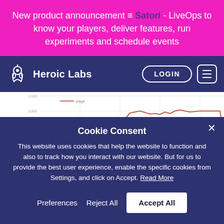New product announcement ≡ Satori - LiveOps to know your players, deliver features, run experiments and schedule events
[Figure (screenshot): Heroic Labs navigation bar with logo (rocket icon) on the left showing 'Heroic Labs' text, and LOGIN button and hamburger menu button on the right, on a dark blue/purple background.]
[Figure (line-chart): Partial line chart visible behind cookie consent dialog. Y-axis shows values from approximately 800 to 1100. A line labeled 'page' rises from around 800-850 on the left, peaks near 1000-1010 on the right side, then drops sharply at the far right.]
Cookie Consent
This website uses cookies that help the website to function and also to track how you interact with our website. But for us to provide the best user experience, enable the specific cookies from Settings, and click on Accept. Read More